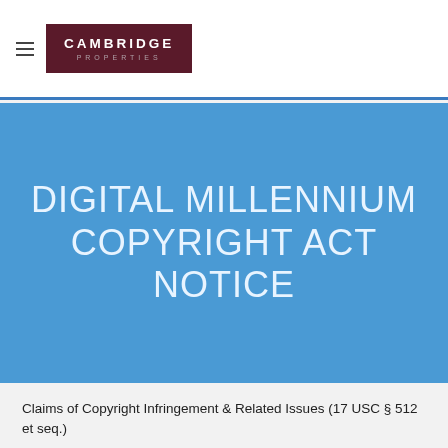CAMBRIDGE PROPERTIES
DIGITAL MILLENNIUM COPYRIGHT ACT NOTICE
Claims of Copyright Infringement & Related Issues (17 USC § 512 et seq.)
We respect the intellectual property rights of others. Anyone who believes their work has been reproduced in a